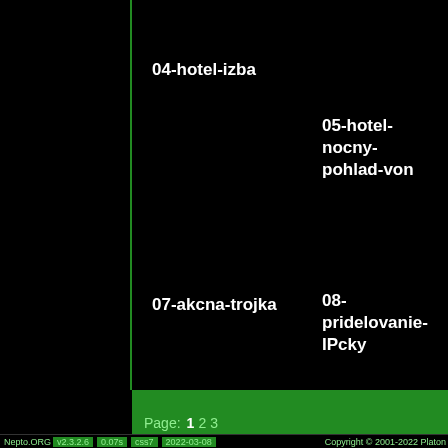04-hotel-izba
05-hotel-nocny-pohlad-von
07-akcna-trojka
08-pridelovanie-IPcky
Page: 1 2 3
Nepto.ORG v2.3.2.6 0.07s css7 2022-03-08 Copyright © 2001-2022 Platon